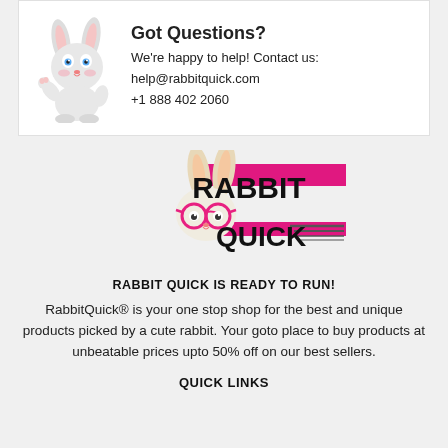Got Questions?
We're happy to help! Contact us:
help@rabbitquick.com
+1 888 402 2060
[Figure (logo): RabbitQuick logo with cartoon bunny wearing pink glasses, pink bow, beside bold text RABBIT QUICK with speed lines and pink horizontal bars]
RABBIT QUICK IS READY TO RUN!
RabbitQuick® is your one stop shop for the best and unique products picked by a cute rabbit. Your goto place to buy products at unbeatable prices upto 50% off on our best sellers.
QUICK LINKS